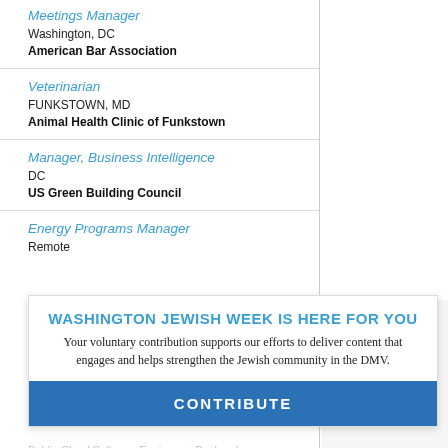Meetings Manager
Washington, DC
American Bar Association
Veterinarian
FUNKSTOWN, MD
Animal Health Clinic of Funkstown
Manager, Business Intelligence
DC
US Green Building Council
Energy Programs Manager
Remote
WASHINGTON JEWISH WEEK IS HERE FOR YOU
Your voluntary contribution supports our efforts to deliver content that engages and helps strengthen the Jewish community in the DMV.
CONTRIBUTE